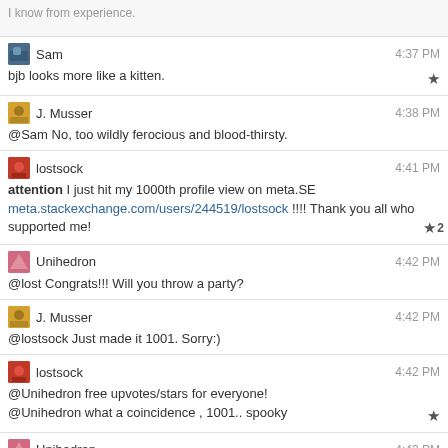I know from experience.
Sam 4:37 PM bjb looks more like a kitten.
J. Musser 4:38 PM @Sam No, too wildly ferocious and blood-thirsty.
lostsock 4:41 PM attention I just hit my 1000th profile view on meta.SE meta.stackexchange.com/users/244519/lostsock !!!! Thank you all who supported me! 2
Unihedron 4:42 PM @lost Congrats!!! Will you throw a party?
J. Musser 4:42 PM @lostsock Just made it 1001. Sorry:)
lostsock 4:42 PM @Unihedron free upvotes/stars for everyone! @Unihedron what a coincidence , 1001.. spooky
Unihedron 4:43 PM 1001 is binary for 9
J. Musser 4:44 PM